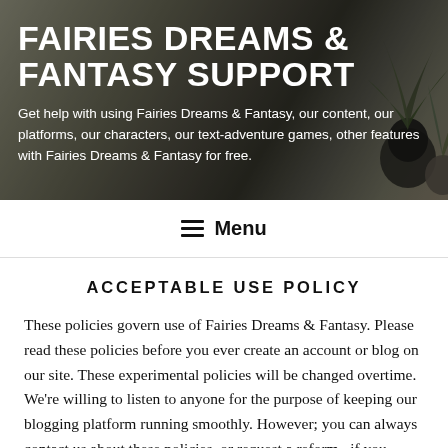[Figure (photo): Hero banner with blurred/dark background photo of potted plants on a table, with large white bold title and subtitle text overlaid.]
FAIRIES DREAMS & FANTASY SUPPORT
Get help with using Fairies Dreams & Fantasy, our content, our platforms, our characters, our text-adventure games, other features with Fairies Dreams & Fantasy for free.
☰ Menu
ACCEPTABLE USE POLICY
These policies govern use of Fairies Dreams & Fantasy. Please read these policies before you ever create an account or blog on our site. These experimental policies will be changed overtime. We're willing to listen to anyone for the purpose of keeping our blogging platform running smoothly. However; you can always contact us about these policies, or request a reform –if you